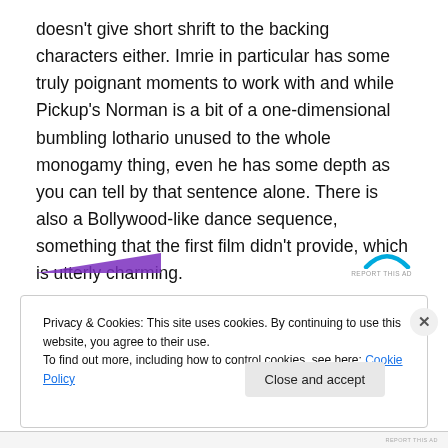doesn't give short shrift to the backing characters either. Imrie in particular has some truly poignant moments to work with and while Pickup's Norman is a bit of a one-dimensional bumbling lothario unused to the whole monogamy thing, even he has some depth as you can tell by that sentence alone. There is also a Bollywood-like dance sequence, something that the first film didn't provide, which is utterly charming.
[Figure (other): Advertisement banner with purple triangle shape on left and cyan arc logo on right with 'REPORT THIS AD' text]
Privacy & Cookies: This site uses cookies. By continuing to use this website, you agree to their use.
To find out more, including how to control cookies, see here: Cookie Policy
Close and accept